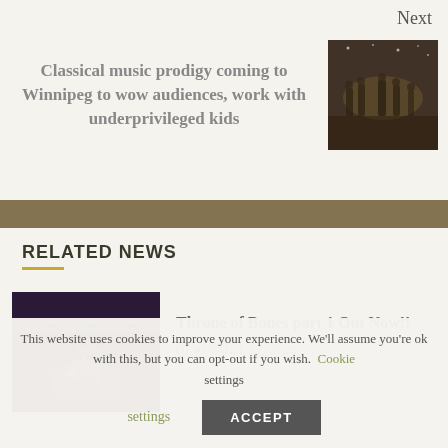Next
Classical music prodigy coming to Winnipeg to wow audiences, work with underprivileged kids
[Figure (photo): Thumbnail photo of musicians performing on stage, dark background]
RELATED NEWS
[Figure (photo): Photo of a performer on stage with blue/purple lighting, wearing a cap, microphone in hand, truss structure visible in background]
Throne of Bones part 1 Out Now!!
AUGUST 19, 2022
This website uses cookies to improve your experience. We'll assume you're ok with this, but you can opt-out if you wish. Cookie settings ACCEPT